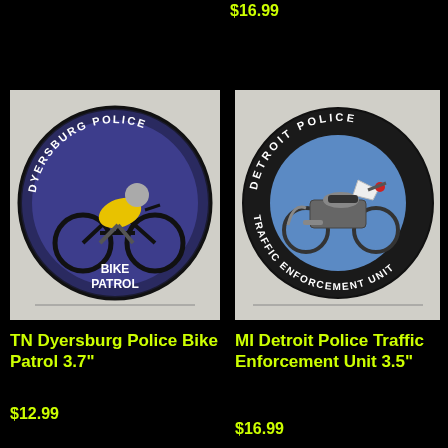$16.99
[Figure (photo): Police embroidered patch for TN Dyersburg Police Bike Patrol, circular shape with purple/blue background, showing a cyclist in yellow jacket on a black bicycle, text reading DYERSBURG POLICE around the top and BIKE PATROL at the bottom]
[Figure (photo): Police embroidered patch for MI Detroit Police Traffic Enforcement Unit, circular shape with black border and blue inner circle, showing a police motorcycle, text reading DETROIT POLICE around the top and TRAFFIC ENFORCEMENT UNIT around the bottom]
TN Dyersburg Police Bike Patrol 3.7"
MI Detroit Police Traffic Enforcement Unit 3.5"
$12.99
$16.99